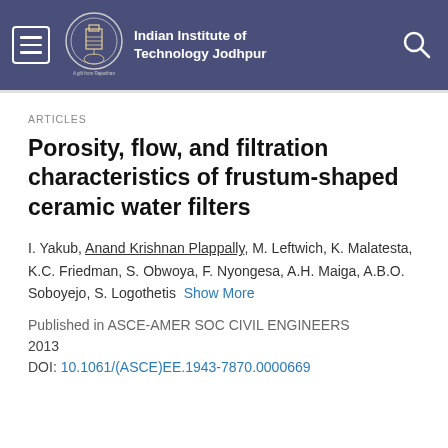Indian Institute of Technology Jodhpur
ARTICLES
Porosity, flow, and filtration characteristics of frustum-shaped ceramic water filters
I. Yakub, Anand Krishnan Plappally, M. Leftwich, K. Malatesta, K.C. Friedman, S. Obwoya, F. Nyongesa, A.H. Maiga, A.B.O. Soboyejo, S. Logothetis  Show More
Published in ASCE-AMER SOC CIVIL ENGINEERS
2013
DOI: 10.1061/(ASCE)EE.1943-7870.0000669